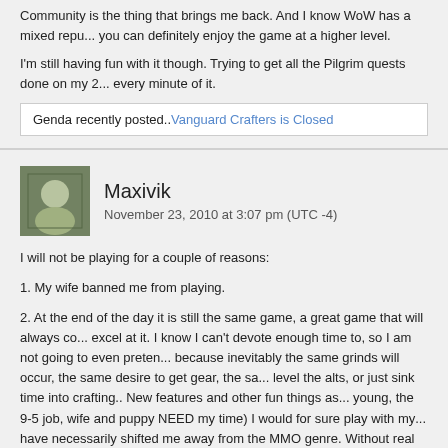Community is the thing that brings me back. And I know WoW has a mixed repu... you can definitely enjoy the game at a higher level.
I'm still having fun with it though. Trying to get all the Pilgrim quests done on my 2... every minute of it.
Genda recently posted..Vanguard Crafters is Closed
Maxivik
November 23, 2010 at 3:07 pm (UTC -4)
I will not be playing for a couple of reasons:
1. My wife banned me from playing.
2. At the end of the day it is still the same game, a great game that will always co... excel at it. I know I can't devote enough time to, so I am not going to even preten... because inevitably the same grinds will occur, the same desire to get gear, the sa... level the alts, or just sink time into crafting.. New features and other fun things as... young, the 9-5 job, wife and puppy NEED my time) I would for sure play with my... have necessarily shifted me away from the MMO genre. Without real time to play... casual mindset, I simply won't have much fun. Some people will make the argum... and out with being as productive, but that is only true to achieve a certain level of... cutting edge or go home… a true curse.
Screen shots for me pls!